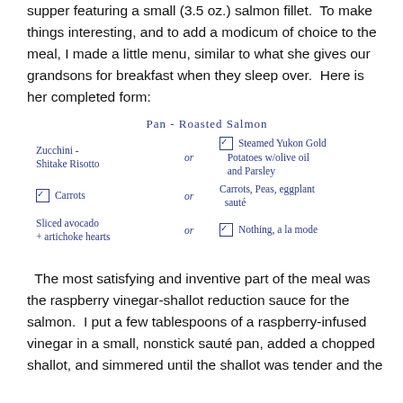supper featuring a small (3.5 oz.) salmon fillet.  To make things interesting, and to add a modicum of choice to the meal, I made a little menu, similar to what she gives our grandsons for breakfast when they sleep over.  Here is her completed form:
[Figure (illustration): Handwritten menu on lined paper showing: Title 'Pan-Roasted Salmon'. Three rows each with two options separated by 'or'. Row 1: 'Zucchini-Shitake Risotto' or [checked] 'Steamed Yukon Gold Potatoes w/olive oil and Parsley'. Row 2: [checked] 'Carrots' or 'Carrots, Peas, eggplant saute'. Row 3: 'Sliced avocado + artichoke hearts' or [checked] 'Nothing, a la mode'.]
The most satisfying and inventive part of the meal was the raspberry vinegar-shallot reduction sauce for the salmon.  I put a few tablespoons of a raspberry-infused vinegar in a small, nonstick sauté pan, added a chopped shallot, and simmered until the shallot was tender and the